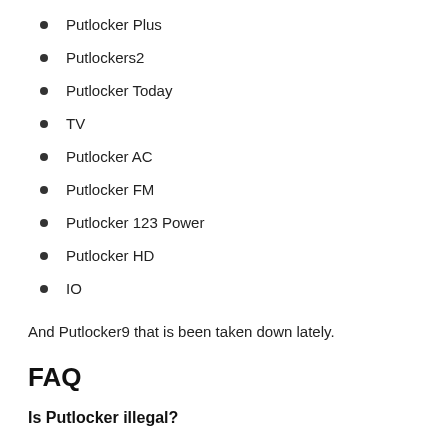Putlocker Plus
Putlockers2
Putlocker Today
TV
Putlocker AC
Putlocker FM
Putlocker 123 Power
Putlocker HD
IO
And Putlocker9 that is been taken down lately.
FAQ
Is Putlocker illegal?